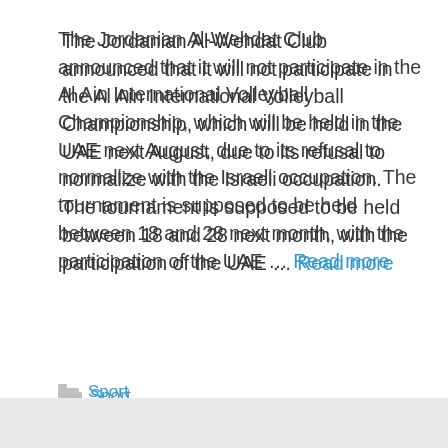The Jordanian Al-Wehdat Club announced that it will not participate in the Al Ain International Volleyball Championship, which will be held in the UAE next August, due to its refusal to normalize with the Israeli occupation. The tournament is supposed to be held between 18 and 28 next month, with the participation of the UAE … Read more
Sport
Championship, emirati, Jordanian, normalization, Rejecting, units, withdrew
Leave a comment